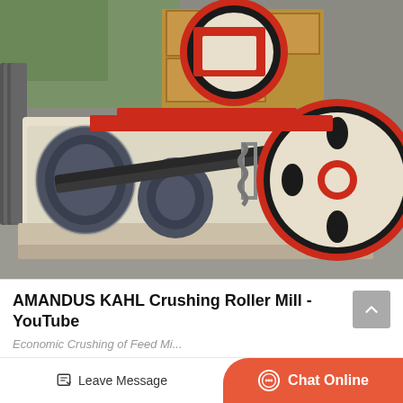[Figure (photo): Photo of an AMANDUS KAHL Crushing Roller Mill machine — a large white and red industrial roller mill mounted on a pallet, with two large red-rimmed flywheel discs visible on the right side, drive motors with plastic wrapping on the left, coil springs, and drive belts. The machine is photographed outdoors on a concrete surface with wooden crates in the background.]
AMANDUS KAHL Crushing Roller Mill - YouTube
Economic Crushing of Feed Mi...
Leave Message
Chat Online